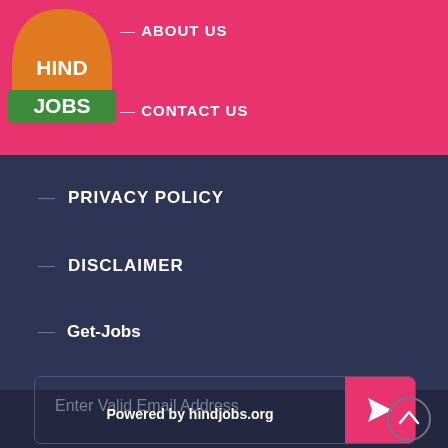[Figure (logo): HindJobs circular logo with orange dome top and green base stripe, white text HIND JOBS]
— ABOUT US
— CONTACT US
— PRIVACY POLICY
— DISCLAIMER
— Get-Jobs
Enter Valid Email Address
Powered by hindjobs.org